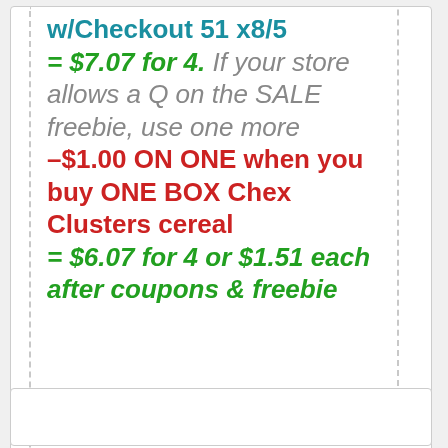w/Checkout 51 x8/5 = $7.07 for 4. If your store allows a Q on the SALE freebie, use one more –$1.00 ON ONE when you buy ONE BOX Chex Clusters cereal = $6.07 for 4 or $1.51 each after coupons & freebie